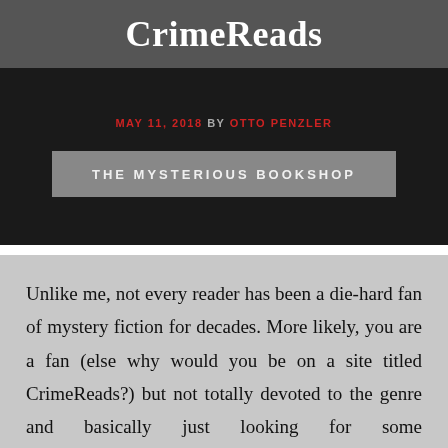CrimeReads
MAY 11, 2018 BY OTTO PENZLER
THE MYSTERIOUS BOOKSHOP
Unlike me, not every reader has been a die-hard fan of mystery fiction for decades. More likely, you are a fan (else why would you be on a site titled CrimeReads?) but not totally devoted to the genre and basically just looking for some recommendations of what to read but unsure about the various categories by which books may be defined. As a geek who has been